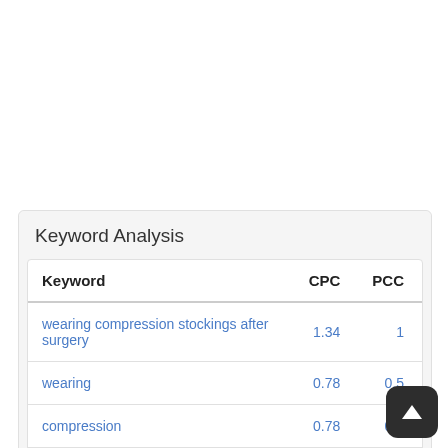Keyword Analysis
| Keyword | CPC | PCC |
| --- | --- | --- |
| wearing compression stockings after surgery | 1.34 | 1 |
| wearing | 0.78 | 0.5 |
| compression | 0.78 | 0.8 |
| stockings | 0.35 |  |